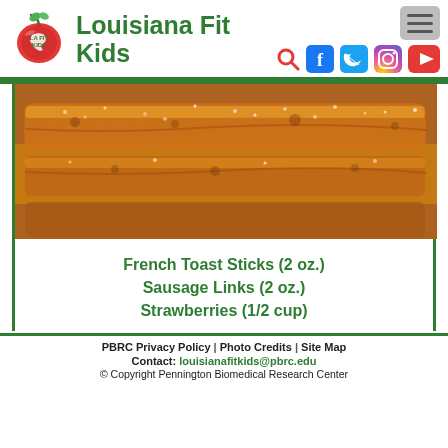Louisiana Fit Kids
[Figure (photo): Close-up photo of French toast sticks with cinnamon sugar coating]
French Toast Sticks (2 oz.)
Sausage Links (2 oz.)
Strawberries (1/2 cup)
PBRC Privacy Policy | Photo Credits | Site Map
Contact: louisianafitkids@pbrc.edu
© Copyright Pennington Biomedical Research Center